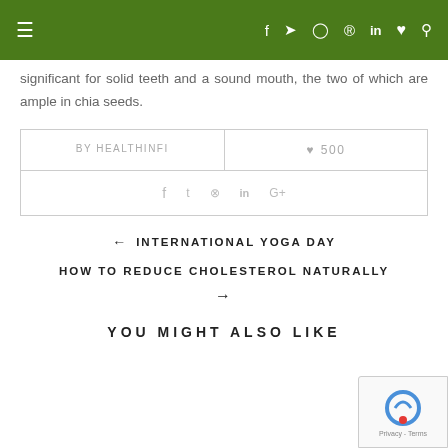Navigation bar with menu and social icons
significant for solid teeth and a sound mouth, the two of which are ample in chia seeds.
| BY HEALTHINFI | ♥ 500 |
| --- | --- |
| f  t  ⊕  in  G+ |
← INTERNATIONAL YOGA DAY
HOW TO REDUCE CHOLESTEROL NATURALLY →
YOU MIGHT ALSO LIKE